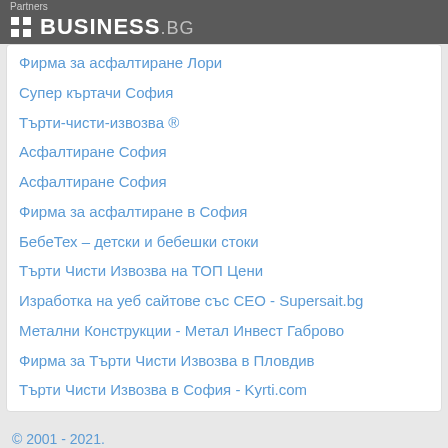Partners | BUSINESS.bg
Фирма за асфалтиране Лори
Супер къртачи София
Търти-чисти-извозва ®
Асфалтиране София
Асфалтиране София
Фирма за асфалтиране в София
БебеТех – детски и бебешки стоки
Търти Чисти Извозва на ТОП Цени
Изработка на уеб сайтове със CEO - Supersait.bg
Метални Конструкции - Метал Инвест Габрово
Фирма за Търти Чисти Извозва в Пловдив
Търти Чисти Извозва в София - Kyrti.com
© 2001 - 2021.
BUSINESS.bg
All rights reserved -